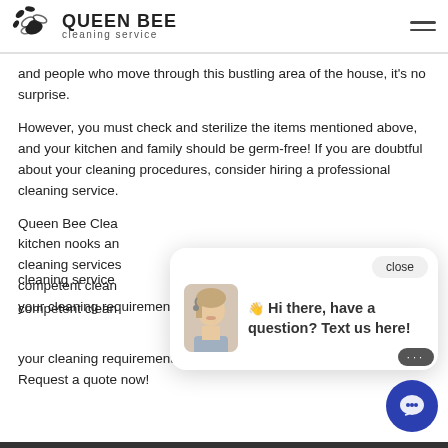QUEEN BEE cleaning service
and people who move through this bustling area of the house, it's no surprise.
However, you must check and sterilize the items mentioned above, and your kitchen and family should be germ-free! If you are doubtful about your cleaning procedures, consider hiring a professional cleaning service.
Queen Bee Cleaning Service specializes in kitchen nooks and crannies. Our professional cleaning services have helped several households. Our competent cleaning professionals can customize to your cleaning requirements. Request a quote now!
[Figure (screenshot): Chat popup with avatar of a woman wearing a headset, text reading 'Hi there, have a question? Text us here!' and a close button. A blue circular chat bubble icon is in the bottom right.]